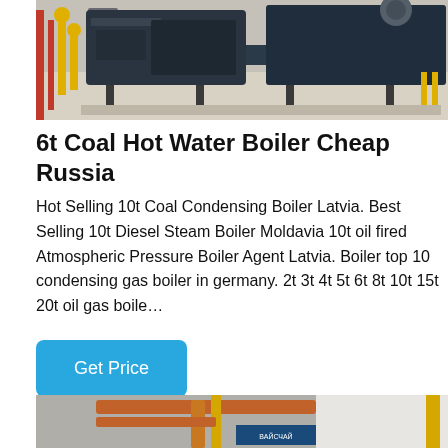[Figure (photo): Industrial coal hot water boiler units mounted on a platform in a facility. Large dark-colored boiler machines with yellow pipes visible on the left side.]
6t Coal Hot Water Boiler Cheap Russia
Hot Selling 10t Coal Condensing Boiler Latvia. Best Selling 10t Diesel Steam Boiler Moldavia 10t oil fired Atmospheric Pressure Boiler Agent Latvia. Boiler top 10 condensing gas boiler in germany. 2t 3t 4t 5t 6t 8t 10t 15t 20t oil gas boile…
[Figure (other): Get Price button (blue rounded rectangle)]
[Figure (photo): Partial view of boiler room interior with orange and yellow pipes running along the ceiling. A sign partially visible in the background.]